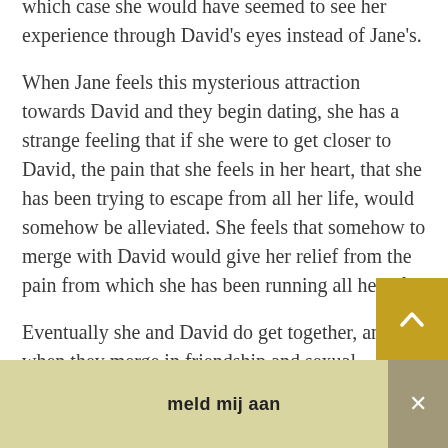which case she would have seemed to see her experience through David's eyes instead of Jane's.
When Jane feels this mysterious attraction towards David and they begin dating, she has a strange feeling that if she were to get closer to David, the pain that she feels in her heart, that she has been trying to escape from all her life, would somehow be alleviated. She feels that somehow to merge with David would give her relief from the pain from which she has been running all her life.
Eventually she and David do get together, and when they merge in friendship and sexual intimacy, she does
meld mij aan